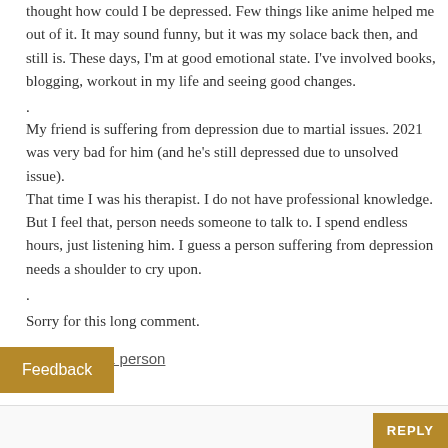thought how could I be depressed. Few things like anime helped me out of it. It may sound funny, but it was my solace back then, and still is. These days, I'm at good emotional state. I've involved books, blogging, workout in my life and seeing good changes.
.
My friend is suffering from depression due to martial issues. 2021 was very bad for him (and he's still depressed due to unsolved issue).
That time I was his therapist. I do not have professional knowledge. But I feel that, person needs someone to talk to. I spend endless hours, just listening him. I guess a person suffering from depression needs a shoulder to cry upon.
.
Sorry for this long comment.
★ Liked by 1 person